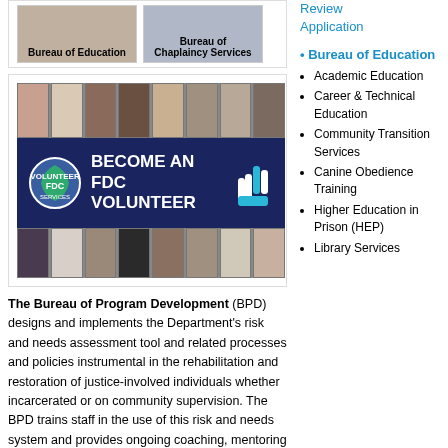[Figure (photo): Bureau of Education photo thumbnail with label]
[Figure (photo): Bureau of Chaplaincy Services photo thumbnail with label]
[Figure (photo): Become an FDC Volunteer banner with group photos and FDC logo]
The Bureau of Program Development (BPD) designs and implements the Department's risk and needs assessment tool and related processes and policies instrumental in the rehabilitation and restoration of justice-involved individuals whether incarcerated or on community supervision. The BPD trains staff in the use of this risk and needs system and provides ongoing coaching, mentoring and fidelity monitoring. In addition, the BPD...
Review Application
Bureau of Education
Academic Education
Career & Technical Education
Community Transition Services
Canine Obedience Training
Higher Education in Prison (HEP)
Library Services